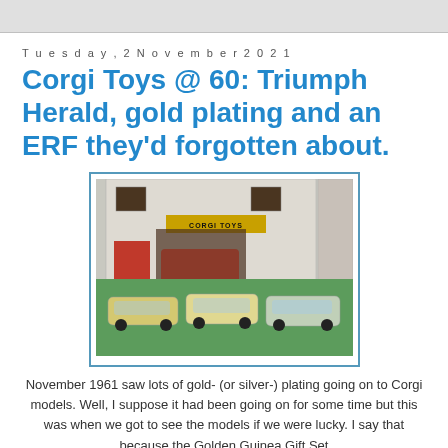Tuesday, 2 November 2021
Corgi Toys @ 60: Triumph Herald, gold plating and an ERF they'd forgotten about.
[Figure (photo): Three gold/silver-plated Corgi toy car models displayed on a green surface in front of a Corgi Toys garage/showroom diorama backdrop.]
November 1961 saw lots of gold- (or silver-) plating going on to Corgi models. Well, I suppose it had been going on for some time but this was when we got to see the models if we were lucky. I say that because the Golden Guinea Gift Set